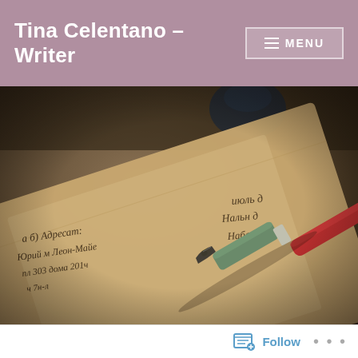Tina Celentano – Writer
[Figure (photo): Close-up photo of a dip pen with a red handle and green metal ferrule resting on a kraft paper envelope with handwritten Cyrillic script address, on a wooden surface. A small dark ink bottle is partially visible in the blurred upper background.]
Follow